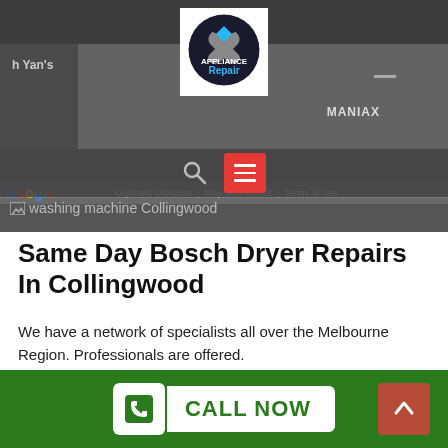[Figure (screenshot): Screenshot of a website showing a Google Maps embed with an Appliance Repair logo badge, a search icon and red hamburger menu button, and text 'washing machine Collingwood' with broken image icon. Shows Google logo, map attribution and map data 2022.]
Same Day Bosch Dryer Repairs In Collingwood
We have a network of specialists all over the Melbourne Region. Professionals are offered.
Accredited And Insured Specialists
[Figure (screenshot): Green footer bar with a white phone icon button, 'CALL NOW' text button, and a red scroll-to-top arrow button]